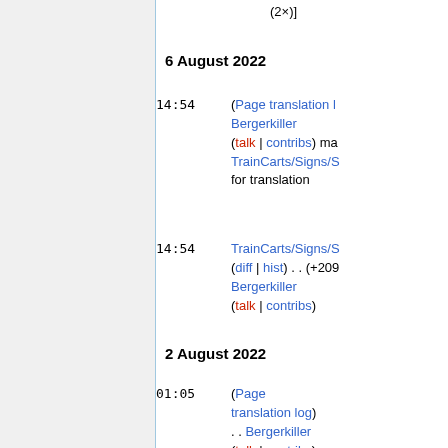(2×)]
6 August 2022
14:54 (Page translation log) Bergerkiller (talk | contribs) marked TrainCarts/Signs/S for translation
14:54 TrainCarts/Signs/S (diff | hist) . . (+209) Bergerkiller (talk | contribs)
2 August 2022
01:05 (Page translation log) . . Bergerkiller (talk | contribs) marked TC-Coasters/Signs for translation